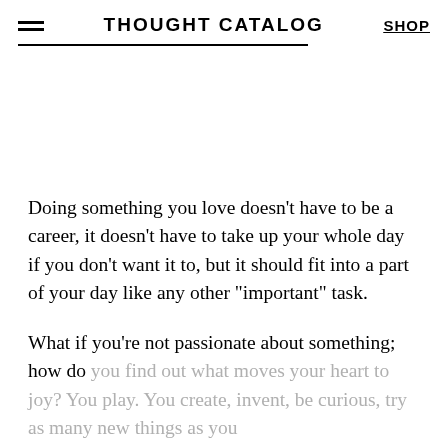THOUGHT CATALOG   SHOP
Doing something you love doesn’t have to be a career, it doesn’t have to take up your whole day if you don’t want it to, but it should fit into a part of your day like any other “important” task.
What if you’re not passionate about something; how do you find out what moves your heart to joy? You play. You create, invent, be curious, try as many new things as you can. You don’t approach it with the same ardor; the curiosity